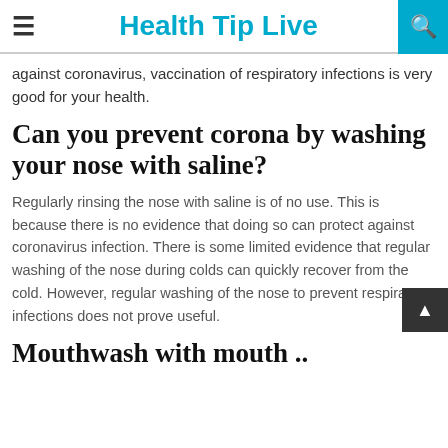Health Tip Live
against coronavirus, vaccination of respiratory infections is very good for your health.
Can you prevent corona by washing your nose with saline?
Regularly rinsing the nose with saline is of no use. This is because there is no evidence that doing so can protect against coronavirus infection. There is some limited evidence that regular washing of the nose during colds can quickly recover from the cold. However, regular washing of the nose to prevent respiratory infections does not prove useful.
Mouthwash with mouth ..